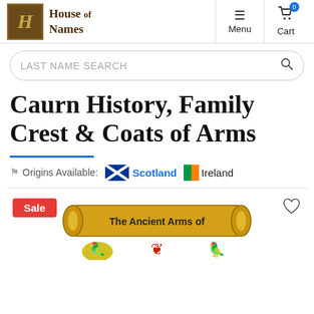[Figure (logo): House of Names logo with gothic H in brown box and Gothic text]
Menu  Cart
LAST NAME SEARCH
Caurn History, Family Crest & Coats of Arms
Origins Available: Scotland  Ireland
[Figure (illustration): The Ancient Arms of scroll banner with heraldic decorations below showing yellow/red bird figures]